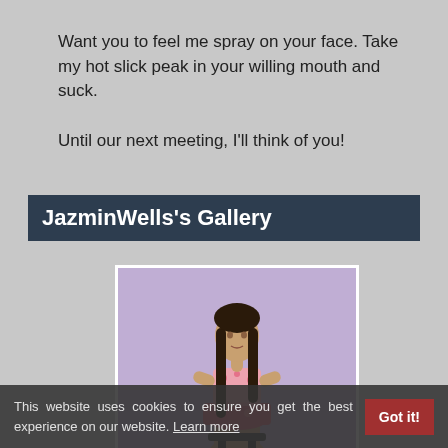Want you to feel me spray on your face. Take my hot slick peak in your willing mouth and suck.

Until our next meeting, I'll think of you!
JazminWells's Gallery
[Figure (photo): Young woman posing in a pink floral crop top and skirt against a purple background]
This website uses cookies to ensure you get the best experience on our website. Learn more